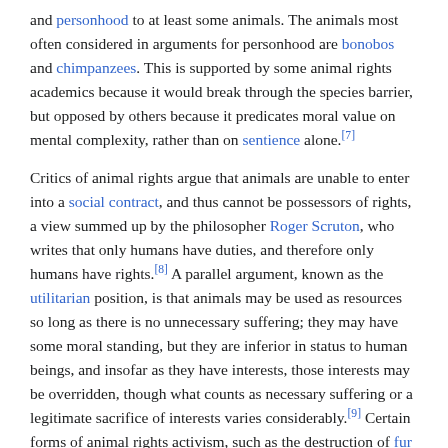and personhood to at least some animals. The animals most often considered in arguments for personhood are bonobos and chimpanzees. This is supported by some animal rights academics because it would break through the species barrier, but opposed by others because it predicates moral value on mental complexity, rather than on sentience alone.[7]
Critics of animal rights argue that animals are unable to enter into a social contract, and thus cannot be possessors of rights, a view summed up by the philosopher Roger Scruton, who writes that only humans have duties, and therefore only humans have rights.[8] A parallel argument, known as the utilitarian position, is that animals may be used as resources so long as there is no unnecessary suffering; they may have some moral standing, but they are inferior in status to human beings, and insofar as they have interests, those interests may be overridden, though what counts as necessary suffering or a legitimate sacrifice of interests varies considerably.[9] Certain forms of animal rights activism, such as the destruction of fur farms and animal laboratories by the Animal Liberation Front, have also attracted criticism, including from within the animal rights movement itself.[10] as well as prompted reaction from the U.S.